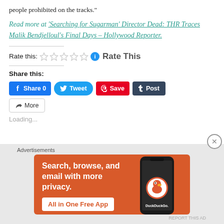people prohibited on the tracks.”
Read more at ‘Searching for Sugarman’ Director Dead: THR Traces Malik Bendjelloul’s Final Days – Hollywood Reporter.
Rate this:  Rate This
Share this:
[Figure (screenshot): Social share buttons: Facebook Share 0, Tweet, Pinterest Save, Tumblr Post, and a More button with share icon]
Loading...
Advertisements
[Figure (infographic): DuckDuckGo advertisement banner with orange background showing 'Search, browse, and email with more privacy. All in One Free App' with a phone image and DuckDuckGo logo]